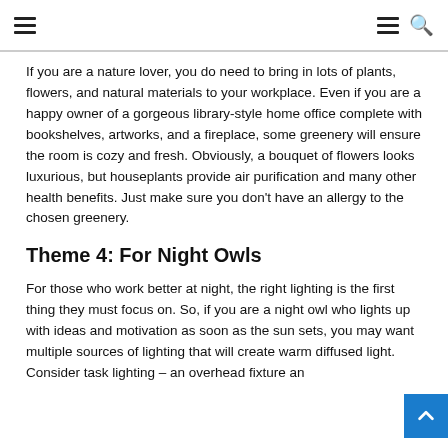navigation header with hamburger menus and search icon
If you are a nature lover, you do need to bring in lots of plants, flowers, and natural materials to your workplace. Even if you are a happy owner of a gorgeous library-style home office complete with bookshelves, artworks, and a fireplace, some greenery will ensure the room is cozy and fresh. Obviously, a bouquet of flowers looks luxurious, but houseplants provide air purification and many other health benefits. Just make sure you don't have an allergy to the chosen greenery.
Theme 4: For Night Owls
For those who work better at night, the right lighting is the first thing they must focus on. So, if you are a night owl who lights up with ideas and motivation as soon as the sun sets, you may want multiple sources of lighting that will create warm diffused light. Consider task lighting – an overhead fixture an